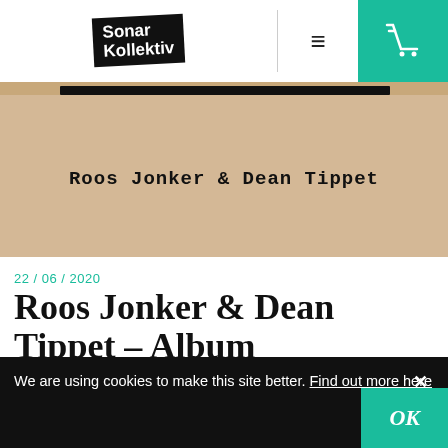Sonar Kollektiv
[Figure (photo): Vintage album cover image with text 'Roos Jonker & Dean Tippet' on a tan/beige background with a black label strip at the top]
22 / 06 / 2020
Roos Jonker & Dean Tippet - Album
We are using cookies to make this site better. Find out more here